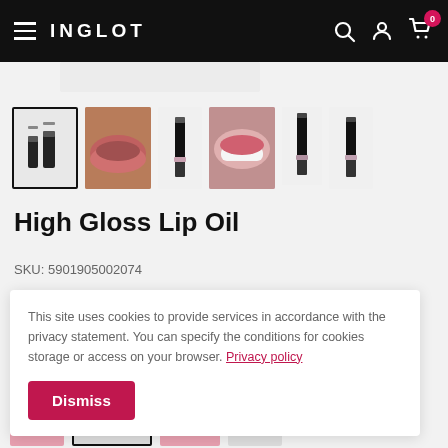INGLOT
[Figure (screenshot): Row of product thumbnail images for High Gloss Lip Oil — lip product sticks and close-up lip photos. First thumbnail selected with black border.]
High Gloss Lip Oil
SKU: 5901905002074
This site uses cookies to provide services in accordance with the privacy statement. You can specify the conditions for cookies storage or access on your browser. Privacy policy
Dismiss